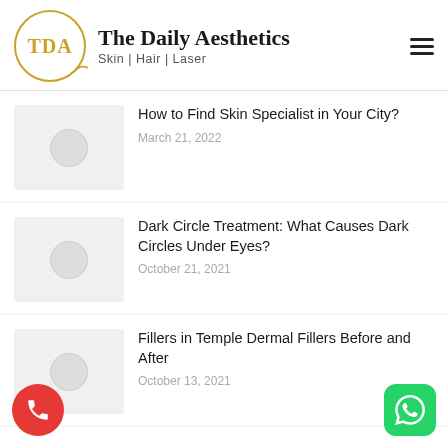[Figure (logo): The Daily Aesthetics logo with TDA monogram in a gold circle and brand name text]
How to Find Skin Specialist in Your City? — March 21, 2022
Dark Circle Treatment: What Causes Dark Circles Under Eyes? — October 21, 2021
Fillers in Temple Dermal Fillers Before and After — October 13, 2021